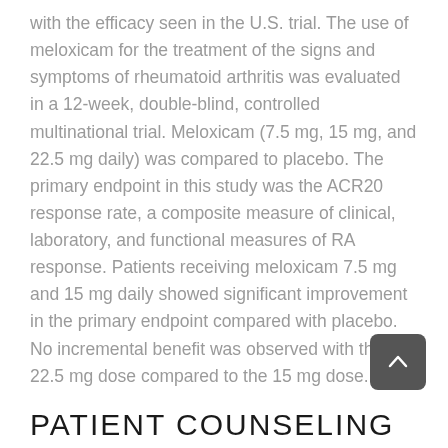with the efficacy seen in the U.S. trial. The use of meloxicam for the treatment of the signs and symptoms of rheumatoid arthritis was evaluated in a 12-week, double-blind, controlled multinational trial. Meloxicam (7.5 mg, 15 mg, and 22.5 mg daily) was compared to placebo. The primary endpoint in this study was the ACR20 response rate, a composite measure of clinical, laboratory, and functional measures of RA response. Patients receiving meloxicam 7.5 mg and 15 mg daily showed significant improvement in the primary endpoint compared with placebo. No incremental benefit was observed with the 22.5 mg dose compared to the 15 mg dose.
PATIENT COUNSELING INFORMATION